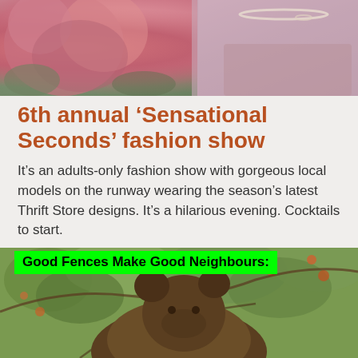[Figure (photo): Top image showing roses and a woman wearing pearls and a lace/knit top]
6th annual ‘Sensational Seconds’ fashion show
It’s an adults-only fashion show with gorgeous local models on the runway wearing the season’s latest Thrift Store designs. It’s a hilarious evening. Cocktails to start.
Read more
[Figure (photo): Bear in an apple tree with green foliage and fruit, with a bright green banner overlay reading 'Good Fences Make Good Neighbours:']